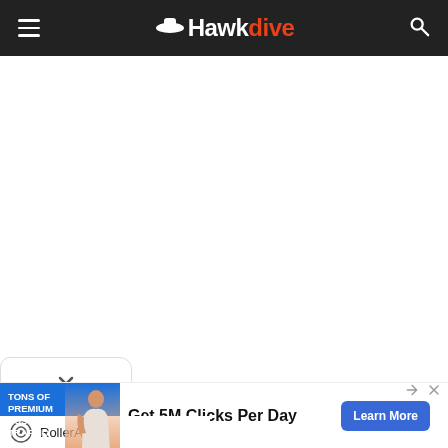Hawkdive
[Figure (screenshot): White empty content area below the navigation bar]
[Figure (infographic): Chevron/dropdown panel with a down arrow]
[Figure (infographic): Advertisement banner: Tons of Premium Push Traffic – Get 5M Clicks Per Day – Learn More – RollerAds]